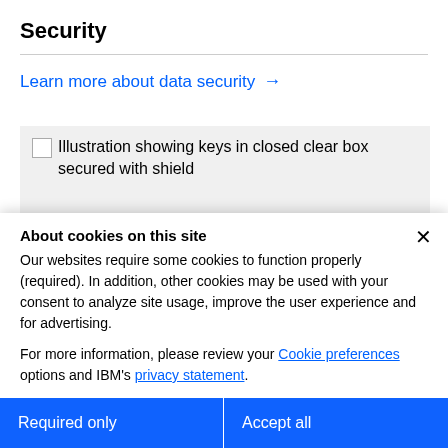Security
Learn more about data security →
[Figure (illustration): Illustration showing keys in closed clear box secured with shield]
About cookies on this site
Our websites require some cookies to function properly (required). In addition, other cookies may be used with your consent to analyze site usage, improve the user experience and for advertising.
For more information, please review your Cookie preferences options and IBM's privacy statement.
Required only
Accept all